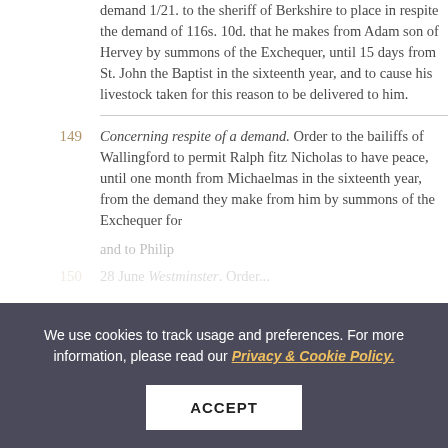demand 1/21. to the sheriff of Berkshire to place in respite the demand of 116s. 10d. that he makes from Adam son of Hervey by summons of the Exchequer, until 15 days from St. John the Baptist in the sixteenth year, and to cause his livestock taken for this reason to be delivered to him.
149 Concerning respite of a demand. Order to the bailiffs of Wallingford to permit Ralph fitz Nicholas to have peace, until one month from Michaelmas in the sixteenth year, from the demand they make from him by summons of the Exchequer for...
150 28 June Westminster. Order...
We use cookies to track usage and preferences. For more information, please read our Privacy & Cookie Policy.